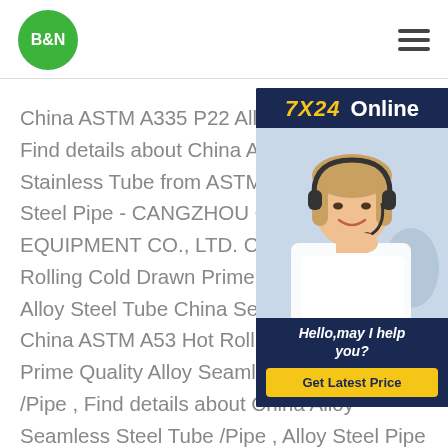B&N logo and navigation menu
[Figure (screenshot): 7X24 Online chat widget with customer service representative photo. Header: '7X24 Online', photo of smiling woman with headset, footer text: 'Hello,may I help you?', button: 'Get Latest Price']
China ASTM A335 P22 Alloy Seamless Find details about China Alloy Seamless Stainless Tube from ASTM A335 P22 A Steel Pipe - CANGZHOU QHT PIPELI EQUIPMENT CO., LTD. China ASTM A Rolling Cold Drawn Prime Quality Alloy Alloy Steel Tube China Seamless Alloy China ASTM A53 Hot Rolling Cold Drawn Prime Quality Alloy Seamless Steel Tube /Pipe , Find details about China Alloy Seamless Steel Tube /Pipe , Alloy Steel Pipe from ASTM A53 Hot Rolling Cold Drawn Prime Quality Alloy Seamless Steel Tube